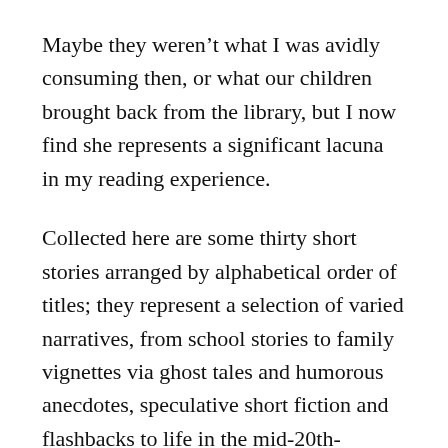Maybe they weren't what I was avidly consuming then, or what our children brought back from the library, but I now find she represents a significant lacuna in my reading experience.
Collected here are some thirty short stories arranged by alphabetical order of titles; they represent a selection of varied narratives, from school stories to family vignettes via ghost tales and humorous anecdotes, speculative short fiction and flashbacks to life in the mid-20th-century, and everything else in between.
I can't possibly comment on them all so I'll point out the real highlights for me, the ones that lingered even